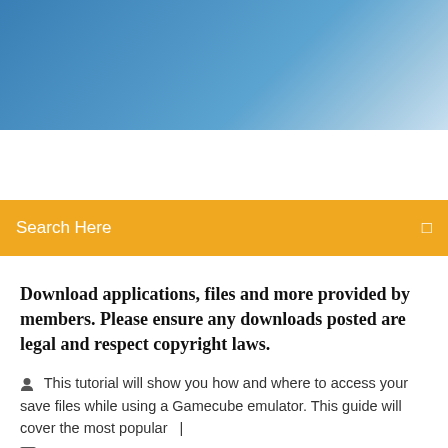[Figure (photo): Blue gradient banner/header image at the top of the page]
Search Here
Download applications, files and more provided by members. Please ensure any downloads posted are legal and respect copyright laws.
This tutorial will show you how and where to access your save files while using a Gamecube emulator. This guide will cover the most popular   |
7 Comments
GBAtemp is a user friendly independent video game community